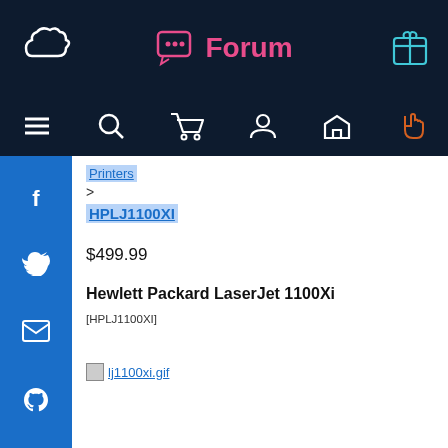Forum
Printers > HPLJ1100XI
$499.99
Hewlett Packard LaserJet 1100Xi
[HPLJ1100XI]
[Figure (other): Broken image placeholder link to lj1100xi.gif]